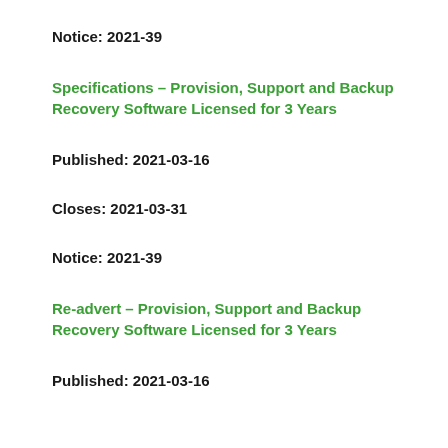Notice: 2021-39
Specifications – Provision, Support and Backup Recovery Software Licensed for 3 Years
Published: 2021-03-16
Closes: 2021-03-31
Notice: 2021-39
Re-advert – Provision, Support and Backup Recovery Software Licensed for 3 Years
Published: 2021-03-16